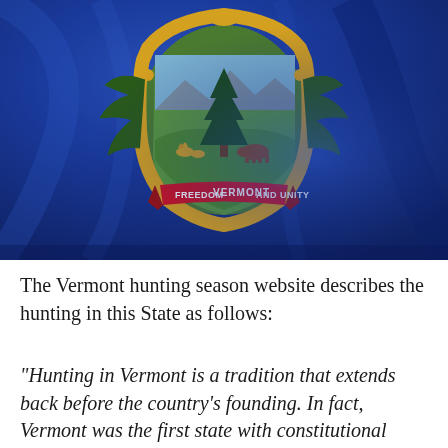[Figure (photo): Vermont state flag draped on a surface. The flag is blue with the Vermont state coat of arms in the center — featuring a pine tree, a cow, sheaves of grain, and mountains in a green field, surrounded by a golden ornamental frame with pine branches. A red banner reads 'VERMONT' with 'FREEDOM' on the left and 'AND UNITY' on the right.]
The Vermont hunting season website describes the hunting in this State as follows:
“Hunting in Vermont is a tradition that extends back before the country’s founding. In fact, Vermont was the first state with constitutional